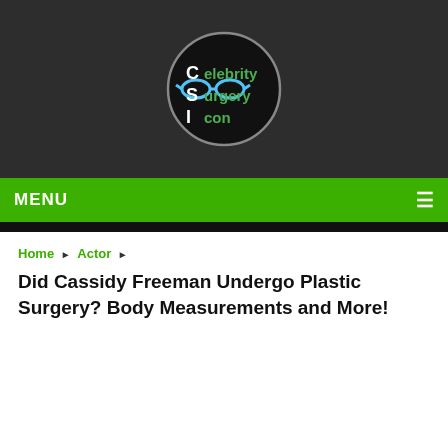[Figure (logo): Celebrity Surgery Icon logo — circular dark badge with CSI letters and blue glasses icon, green and white text]
MENU ☰
Home ▶ Actor ▶
Did Cassidy Freeman Undergo Plastic Surgery? Body Measurements and More!
[Figure (photo): Photo of Cassidy Freeman — a woman with dark hair in an updo, wearing a dark outfit, standing in what appears to be a nightclub setting with colorful lights in the background]